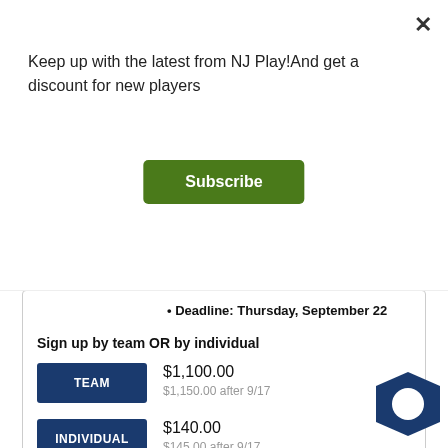Keep up with the latest from NJ Play!And get a discount for new players
Subscribe
• Deadline: Thursday, September 22
Sign up by team OR by individual
TEAM $1,100.00 $1,150.00 after 9/17
INDIVIDUAL $140.00 $145.00 after 9/17
▶ MORE INFO